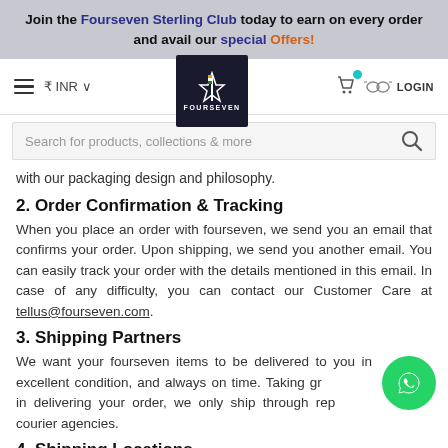Join the Fourseven Sterling Club today to earn on every order and avail our special Offers!
[Figure (screenshot): Navigation bar with hamburger menu, INR currency selector, Fourseven logo (dark background with lightning bolt and Indian flag), shopping bag icon with teal dot, glasses icon, and LOGIN text]
[Figure (screenshot): Search bar with placeholder text 'Search for products, collections & more' and magnifying glass icon]
with our packaging design and philosophy.
2. Order Confirmation & Tracking
When you place an order with fourseven, we send you an email that confirms your order. Upon shipping, we send you another email. You can easily track your order with the details mentioned in this email. In case of any difficulty, you can contact our Customer Care at tellus@fourseven.com.
3. Shipping Partners
We want your fourseven items to be delivered to you in excellent condition, and always on time. Taking great care in delivering your order, we only ship through reputable courier agencies.
4. Shipping Locations